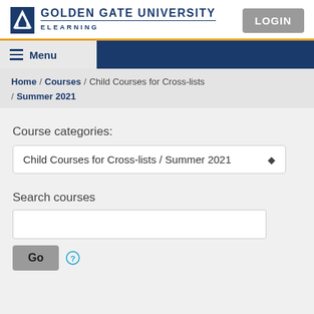GOLDEN GATE UNIVERSITY eLEARNING
LOGIN
Menu
Home / Courses / Child Courses for Cross-lists / Summer 2021
Course categories:
Child Courses for Cross-lists / Summer 2021
Search courses
Go